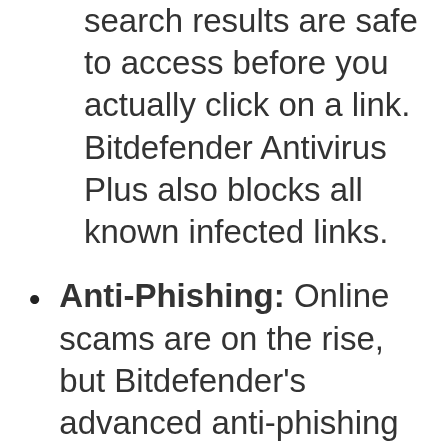search results are safe to access before you actually click on a link. Bitdefender Antivirus Plus also blocks all known infected links.
Anti-Phishing: Online scams are on the rise, but Bitdefender’s advanced anti-phishing protection easily keeps you out of danger. Bitdefender Antivirus Plus sniffs and blocks websites that masquerade as trustworthy in order to steal financial data such as passwords or credit card